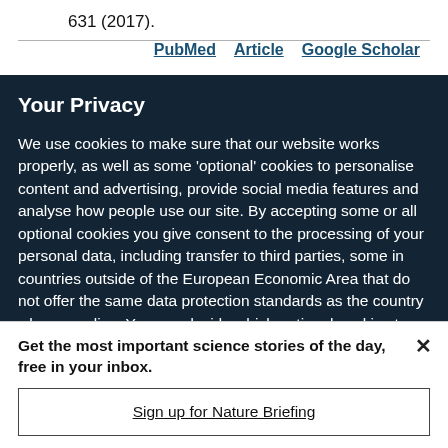631 (2017).
PubMed   Article   Google Scholar
Your Privacy
We use cookies to make sure that our website works properly, as well as some ‘optional’ cookies to personalise content and advertising, provide social media features and analyse how people use our site. By accepting some or all optional cookies you give consent to the processing of your personal data, including transfer to third parties, some in countries outside of the European Economic Area that do not offer the same data protection standards as the country where you live. You can decide which optional cookies to accept by clicking on ‘Manage Settings’, where you can
Get the most important science stories of the day, free in your inbox.
Sign up for Nature Briefing